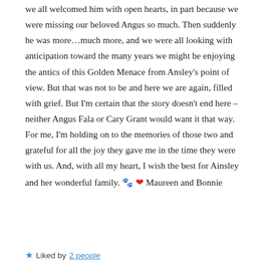we all welcomed him with open hearts, in part because we were missing our beloved Angus so much. Then suddenly he was more…much more, and we were all looking with anticipation toward the many years we might be enjoying the antics of this Golden Menace from Ansley's point of view. But that was not to be and here we are again, filled with grief. But I'm certain that the story doesn't end here – neither Angus Fala or Cary Grant would want it that way. For me, I'm holding on to the memories of those two and grateful for all the joy they gave me in the time they were with us. And, with all my heart, I wish the best for Ainsley and her wonderful family. 🐾 ❤ Maureen and Bonnie
★ Liked by 2 people